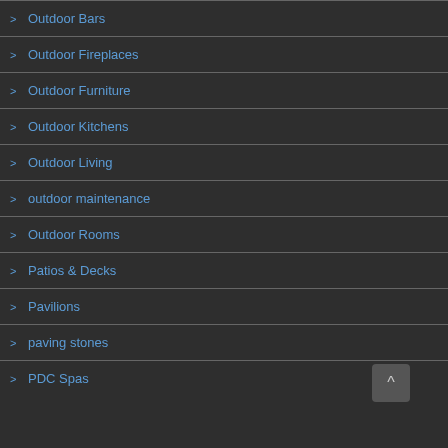Outdoor Bars
Outdoor Fireplaces
Outdoor Furniture
Outdoor Kitchens
Outdoor Living
outdoor maintenance
Outdoor Rooms
Patios & Decks
Pavilions
paving stones
PDC Spas